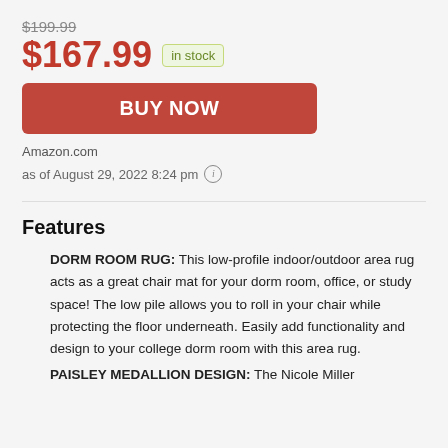$199.99
$167.99 in stock
BUY NOW
Amazon.com
as of August 29, 2022 8:24 pm
Features
DORM ROOM RUG: This low-profile indoor/outdoor area rug acts as a great chair mat for your dorm room, office, or study space! The low pile allows you to roll in your chair while protecting the floor underneath. Easily add functionality and design to your college dorm room with this area rug.
PAISLEY MEDALLION DESIGN: The Nicole Miller